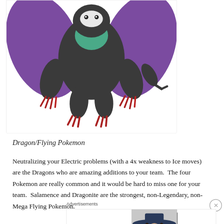[Figure (illustration): Illustration of a dark/purple Dragon/Flying Pokemon (Noivern or similar) shown from below, with dark body, purple wing membranes, red claws, and a teal/green collar area, on a white background with a light gray border.]
Dragon/Flying Pokemon
Neutralizing your Electric problems (with a 4x weakness to Ice moves) are the Dragons who are amazing additions to your team.  The four Pokemon are really common and it would be hard to miss one for your team.  Salamence and Dragonite are the strongest, non-Legendary, non-Mega Flying Pokemon.
Advertisements
[Figure (other): Bloomingdale's advertisement banner showing the Bloomingdale's logo with stylized text, tagline 'View Today's Top Deals!', a photo of a woman in a wide-brim hat, and a 'SHOP NOW >' button on the right.]